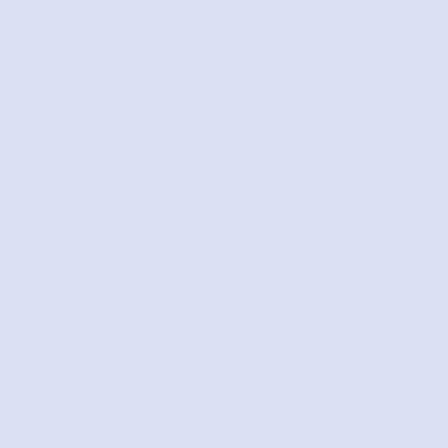in /usr/src/new/emacs/src/... line 108
in /usr/src/new/emacs/src/... line 59, 124, 168, 188-1...
in /usr/src/new/emacs/src/... line 177, 422, 489
in /usr/src/new/emacs/src/... line 1305-1308(5)
in /usr/src/new/emacs/src/... line 160, 191(3), 301-30... 326, 335, 867, 882
in /usr/src/new/emacs/src/... line 150, 202, 222-227(... 410-412(2), 702(3), 721... 789, 797, 972, 978(2)
in /usr/src/new/emacs/src/... line 291
in ...